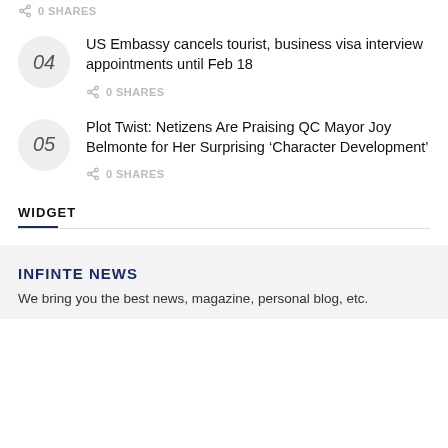0 SHARES
US Embassy cancels tourist, business visa interview appointments until Feb 18
0 SHARES
Plot Twist: Netizens Are Praising QC Mayor Joy Belmonte for Her Surprising ‘Character Development’
0 SHARES
WIDGET
INFINTE NEWS
We bring you the best news, magazine, personal blog, etc.